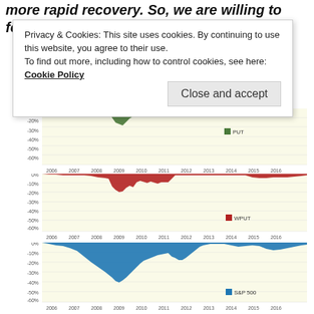more rapid recovery. So, we are willing to forego n
Privacy & Cookies: This site uses cookies. By continuing to use this website, you agree to their use. To find out more, including how to control cookies, see here: Cookie Policy
[Figure (area-chart): PUT Drawdown]
[Figure (area-chart): WPUT Drawdown]
[Figure (area-chart): S&P 500 Drawdown]